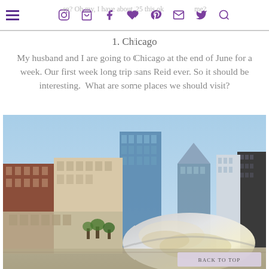en? Oh my, I have about 25 this ok me? [navigation icons]
1. Chicago
My husband and I are going to Chicago at the end of June for a week. Our first week long trip sans Reid ever. So it should be interesting.  What are some places we should visit?
[Figure (photo): Photo of Chicago skyline with Millennium Park's Cloud Gate (the Bean) sculpture in the foreground, tall skyscrapers in the background under a clear blue sky. A 'BACK TO TOP' button overlay appears in the bottom right corner.]